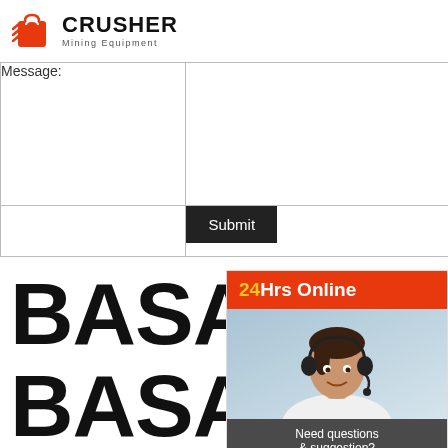[Figure (logo): Crusher Mining Equipment logo with red shopping bag icon and bold text]
|  |  |
| --- | --- |
| Message: |  |
|  | Submit |
BASALT BASALT STONE CRUSHER MACHINES
[Figure (photo): 24Hrs Online sidebar with woman wearing headset, Need questions & suggestion text, Chat Now button, Enquiry link, limingjlmofen@sina.com email]